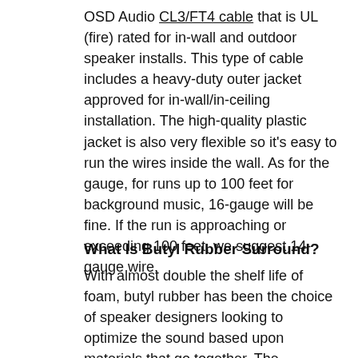OSD Audio CL3/FT4 cable that is UL (fire) rated for in-wall and outdoor speaker installs. This type of cable includes a heavy-duty outer jacket approved for in-wall/in-ceiling installation. The high-quality plastic jacket is also very flexible so it's easy to run the wires inside the wall. As for the gauge, for runs up to 100 feet for background music, 16-gauge will be fine. If the run is approaching or exceeding 100 feet, we suggest 14-gauge wire.
What Is Butyl Rubber Surround?
With almost double the shelf life of foam, butyl rubber has been the choice of speaker designers looking to optimize the sound based upon materials that go together. The Surround is just one of the integral parts of the speaker's motor structure. Butyl Rubber gives the speaker more excursion capability featuring a deeper bass with a wider frequency response, and its shelf life is closer to 25 years compared to the